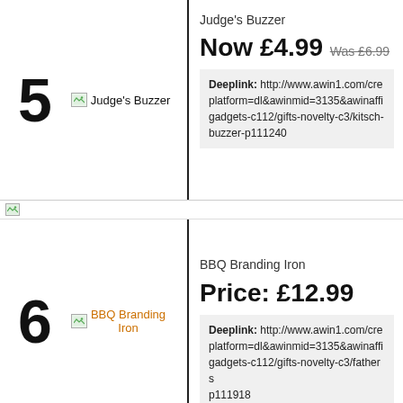5
[Figure (illustration): Broken image placeholder labeled Judge's Buzzer]
Judge's Buzzer
Now £4.99  Was £6.99
Deeplink: http://www.awin1.com/cre platform=dl&awinmid=3135&awinaffi gadgets-c112/gifts-novelty-c3/kitsch- buzzer-p111240
6
[Figure (illustration): Broken image placeholder labeled BBQ Branding Iron]
BBQ Branding Iron
Price: £12.99
Deeplink: http://www.awin1.com/cre platform=dl&awinmid=3135&awinaffi gadgets-c112/gifts-novelty-c3/fathers p111918